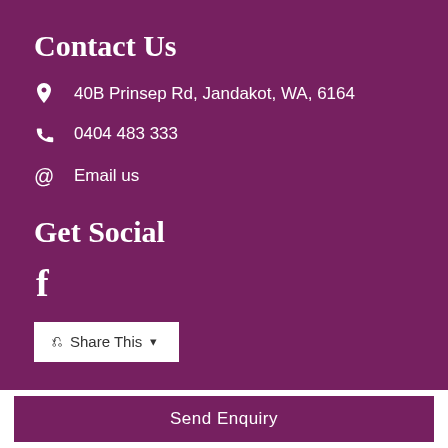Contact Us
📍 40B Prinsep Rd, Jandakot, WA, 6164
📞 0404 483 333
@ Email us
Get Social
f
↪ Share This ▾
Send Enquiry